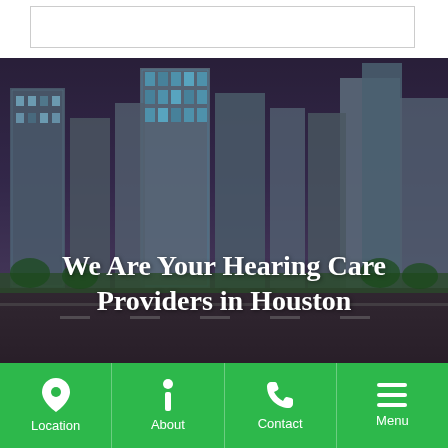[Figure (photo): White rectangular box/banner area at top of page]
[Figure (photo): City skyline photo of Houston with a dark overlay showing skyscrapers at dusk]
We Are Your Hearing Care Providers in Houston
Location | About | Contact | Menu